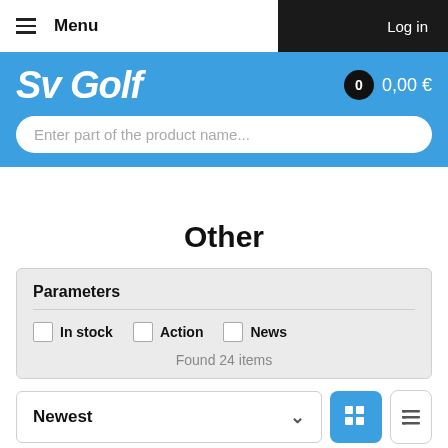Menu  |  Log in
[Figure (logo): SV Golf logo in white italic text on blue background with cart showing 0 items and 0,00 €]
Enter part of the product name...
Other
Parameters
In stock  Action  News
Found 24 items
Newest